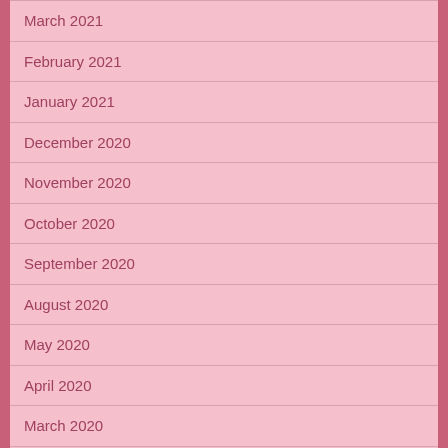March 2021
February 2021
January 2021
December 2020
November 2020
October 2020
September 2020
August 2020
May 2020
April 2020
March 2020
February 2020
January 2020
December 2019
November 2019